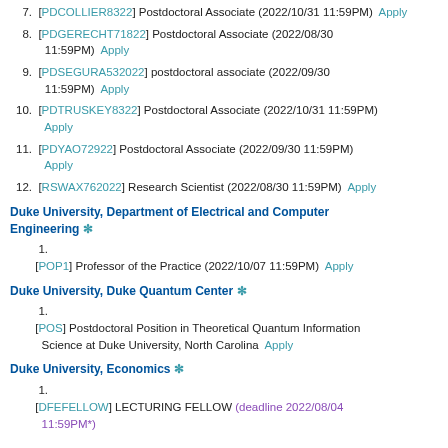7. [PDCOLLIER8322] Postdoctoral Associate (2022/10/31 11:59PM) Apply
8. [PDGERECHT71822] Postdoctoral Associate (2022/08/30 11:59PM) Apply
9. [PDSEGURA532022] postdoctoral associate (2022/09/30 11:59PM) Apply
10. [PDTRUSKEY8322] Postdoctoral Associate (2022/10/31 11:59PM) Apply
11. [PDYAO72922] Postdoctoral Associate (2022/09/30 11:59PM) Apply
12. [RSWAX762022] Research Scientist (2022/08/30 11:59PM) Apply
Duke University, Department of Electrical and Computer Engineering *
1. [POP1] Professor of the Practice (2022/10/07 11:59PM) Apply
Duke University, Duke Quantum Center *
1. [POS] Postdoctoral Position in Theoretical Quantum Information Science at Duke University, North Carolina Apply
Duke University, Economics *
1. [DFEFELLOW] LECTURING FELLOW (deadline 2022/08/04 11:59PM*)